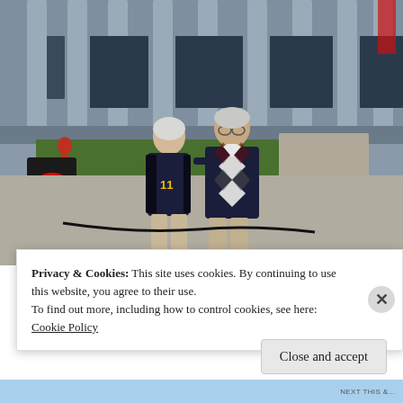[Figure (photo): Two people (a woman and a taller man) standing in front of a large stadium with columns. The woman has white/grey hair and wears a navy blue jacket with a Michigan jersey underneath. The man wears a navy argyle sweater vest. A Coca-Cola Zero Sugar cart is visible on the left. Green grass and a walkway are in the background.]
Privacy & Cookies: This site uses cookies. By continuing to use this website, you agree to their use.
To find out more, including how to control cookies, see here:
Cookie Policy
Close and accept